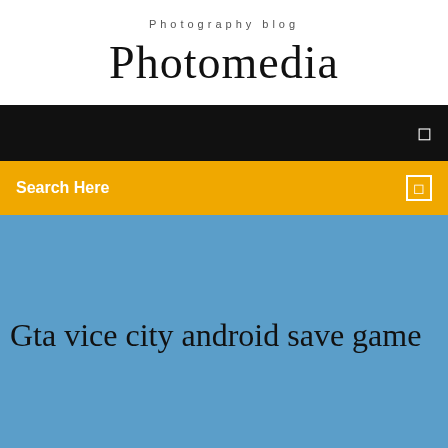Photography blog
Photomedia
☰
Search Here
Gta vice city android save game